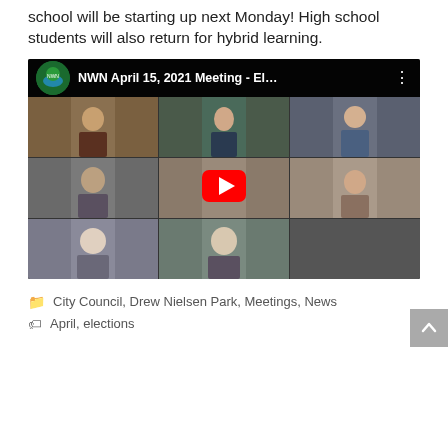school will be starting up next Monday! High school students will also return for hybrid learning.
[Figure (screenshot): YouTube video thumbnail showing a virtual meeting titled 'NWN April 15, 2021 Meeting - El...' with a grid of video participants and a play button overlay.]
City Council, Drew Nielsen Park, Meetings, News
April, elections